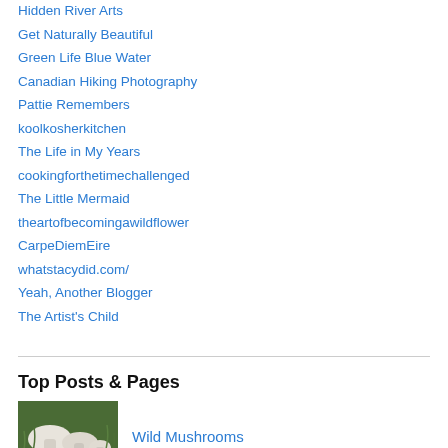Hidden River Arts
Get Naturally Beautiful
Green Life Blue Water
Canadian Hiking Photography
Pattie Remembers
koolkosherkitchen
The Life in My Years
cookingforthetimechallenged
The Little Mermaid
theartofbecomingawildflower
CarpeDiemEire
whatstacydid.com/
Yeah, Another Blogger
The Artist's Child
Top Posts & Pages
Wild Mushrooms
[Figure (photo): Photo of wild mushrooms growing on ground with green grass background]